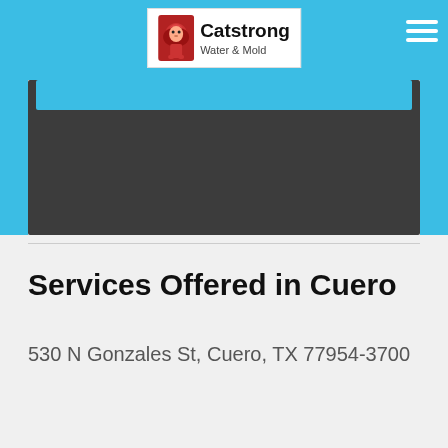[Figure (logo): Catstrong Water & Mold company logo with lion icon]
Services Offered in Cuero
530 N Gonzales St, Cuero, TX 77954-3700